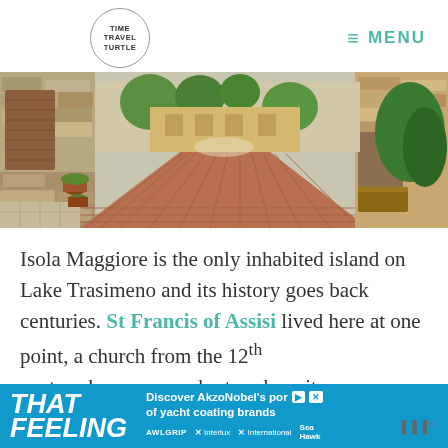TIME TRAVEL TURTLE
[Figure (photo): Narrow cobblestone street in an Italian hilltop village with stone buildings, wooden shutters, potted plants, and trees in the background.]
Isola Maggiore is the only inhabited island on Lake Trasimeno and its history goes back centuries. St Francis of Assisi lived here at one point, a church from the 12th century has preserved artwork on its
[Figure (infographic): Advertisement banner: THAT FEELING — Discover AkzoNobel's portfolio of yacht coating brands. AWLGRIP, X Interlux, X International, Sea Hawk.]